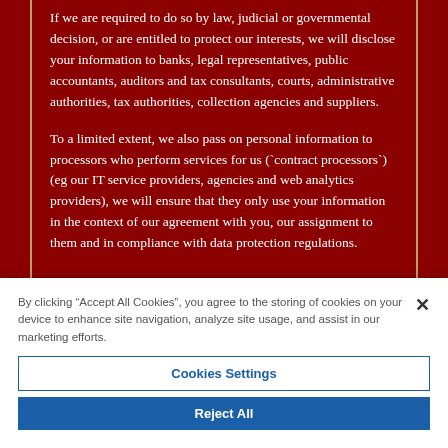If we are required to do so by law, judicial or governmental decision, or are entitled to protect our interests, we will disclose your information to banks, legal representatives, public accountants, auditors and tax consultants, courts, administrative authorities, tax authorities, collection agencies and suppliers.
To a limited extent, we also pass on personal information to processors who perform services for us (`contract processors`) (eg our IT service providers, agencies and web analytics providers), we will ensure that they only use your information in the context of our agreement with you, our assignment to them and in compliance with data protection regulations.
By clicking “Accept All Cookies”, you agree to the storing of cookies on your device to enhance site navigation, analyze site usage, and assist in our marketing efforts.
Cookies Settings
Reject All